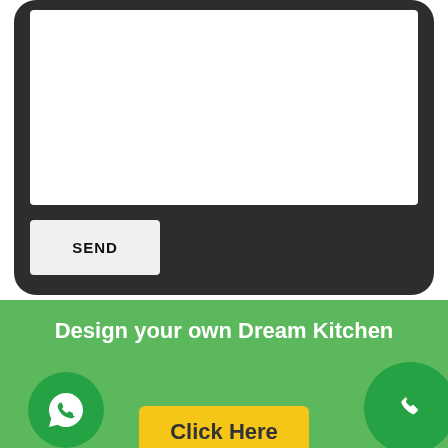[Figure (screenshot): A form text area with a dark/charcoal rounded-rectangle container. Inside is a white text input area (large blank field). Below the input is a light gray 'SEND' button with bold black uppercase text.]
[Figure (infographic): A green banner section with bold white text 'Design your own Dream Kitchen'. Below are two dark green circular icon buttons: a WhatsApp icon on the left and a phone icon on the lower right. A yellow button with text 'Click Here' is partially visible at the bottom center.]